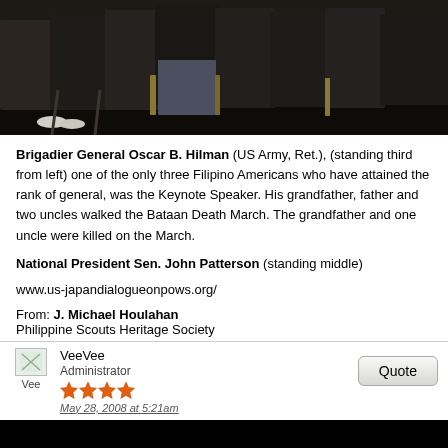[Figure (photo): Black and white photograph of a group of people seated in a row, appearing to be at a formal event or ceremony. The image is cropped showing mainly the lower halves of the seated figures.]
Brigadier General Oscar B. Hilman (US Army, Ret.), (standing third from left) one of the only three Filipino Americans who have attained the rank of general, was the Keynote Speaker. His grandfather, father and two uncles walked the Bataan Death March. The grandfather and one uncle were killed on the March.
National President Sen. John Patterson (standing middle)
www.us-japandialogueonpows.org/
From: J. Michael Houlahan
Philippine Scouts Heritage Society
VeeVee
Administrator
May 28, 2008 at 5:21am